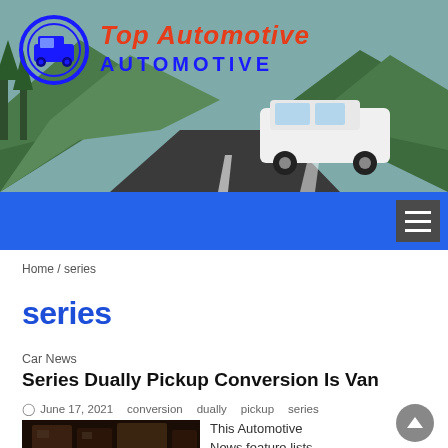[Figure (photo): Website header banner with a mountain road and a white SUV on the road. Has a circular blue logo on the left and 'Top Automotive' title text.]
Top Automotive AUTOMOTIVE
Home / series
series
Car News
Series Dually Pickup Conversion Is Van
June 17, 2021   conversion   dually   pickup   series
This Automotive News feature lists